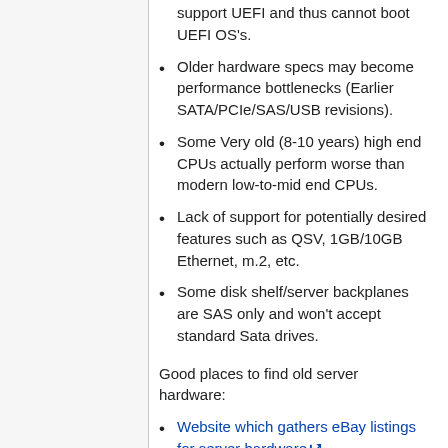support UEFI and thus cannot boot UEFI OS's.
Older hardware specs may become performance bottlenecks (Earlier SATA/PCIe/SAS/USB revisions).
Some Very old (8-10 years) high end CPUs actually perform worse than modern low-to-mid end CPUs.
Lack of support for potentially desired features such as QSV, 1GB/10GB Ethernet, m.2, etc.
Some disk shelf/server backplanes are SAS only and won't accept standard Sata drives.
Good places to find old server hardware:
Website which gathers eBay listings for server hardware
Decent place for UK